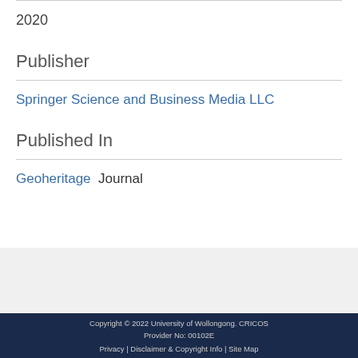2020
Publisher
Springer Science and Business Media LLC
Published In
Geoheritage  Journal
Copyright © 2022 University of Wollongong. CRICOS Provider No: 00102E
Privacy | Disclaimer & Copyright Info | Site Map